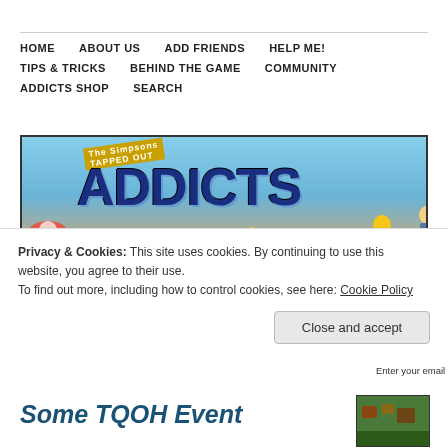HOME   ABOUT US   ADD FRIENDS   HELP ME!   TIPS & TRICKS   BEHIND THE GAME   COMMUNITY   ADDICTS SHOP   SEARCH
[Figure (illustration): Tapped Out Addicts website banner with beach scene, Simpsons characters, and large ADDICTS text in blue]
← Friday Filler – Accepting The End, Before It's the End
Episode Reminder: Now Museum, Now You Don't
FOLLOW BLOG VIA EMAIL
Enter your email
ADDICTS FLICKR
[Figure (photo): Addicts Flickr thumbnail showing game screenshot]
Privacy & Cookies: This site uses cookies. By continuing to use this website, you agree to their use.
To find out more, including how to control cookies, see here: Cookie Policy
Close and accept
Some TQOH Event